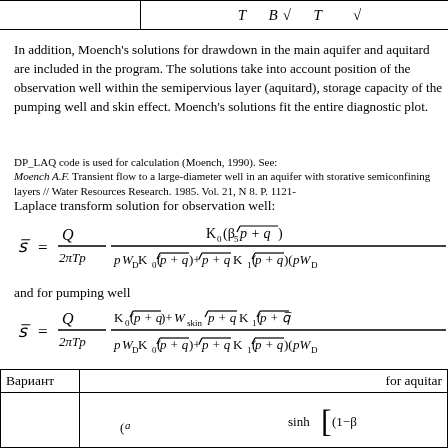|  | T  B V   T    V |
| --- | --- |
|  |
In addition, Moench's solutions for drawdown in the main aquifer and aquitard are included in the program. The solutions take into account position of the observation well within the semipervious layer (aquitard), storage capacity of the pumping well and skin effect. Moench's solutions fit the entire diagnostic plot.
DP_LAQ code is used for calculation (Moench, 1990). See:
Moench A.F. Transient flow to a large-diameter well in an aquifer with storatively semiconfining layers // Water Resources Research. 1985. Vol. 21, N 8. P. 1121-
Laplace transform solution for observation well:
and for pumping well
| Вариант |  | for aquitard |
| --- | --- | --- |
|  |  | sinh[(1-β... |